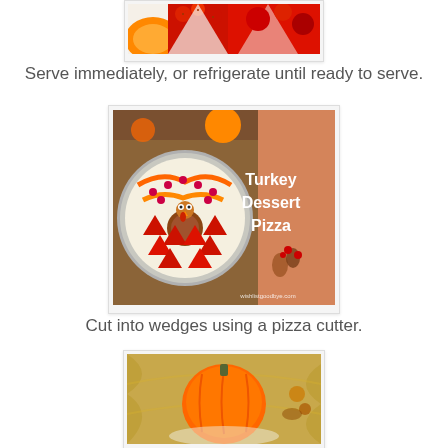[Figure (photo): Close-up cropped photo of red strawberries and orange fruit slices arranged as pizza toppings]
Serve immediately, or refrigerate until ready to serve.
[Figure (photo): Turkey Dessert Pizza - a circular pizza decorated with strawberries, orange slices, and raspberries to look like a turkey, with text 'Turkey Dessert Pizza' on an orange background on the right side]
Cut into wedges using a pizza cutter.
[Figure (photo): Close-up photo of an orange pumpkin or squash on a fabric background with autumn decorations]